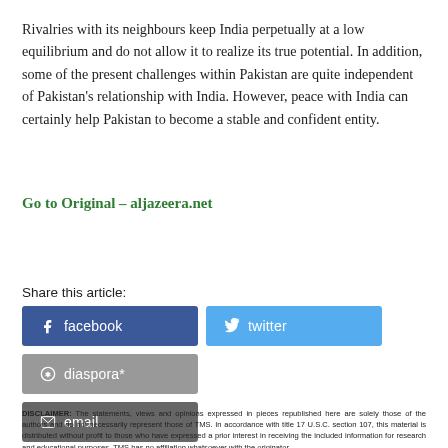Rivalries with its neighbours keep India perpetually at a low equilibrium and do not allow it to realize its true potential. In addition, some of the present challenges within Pakistan are quite independent of Pakistan’s relationship with India. However, peace with India can certainly help Pakistan to become a stable and confident entity.
Go to Original – aljazeera.net
Share this article:
[Figure (other): Social share buttons: facebook, twitter, diaspora*, email]
DISCLAIMER: The statements, views and opinions expressed in pieces republished here are solely those of the authors and do not necessarily represent those of TMS. In accordance with title 17 U.S.C. section 107, this material is distributed without profit to those who have expressed a prior interest in receiving the included information for research and educational purposes. TMS has no affiliation whatsoever with the originator